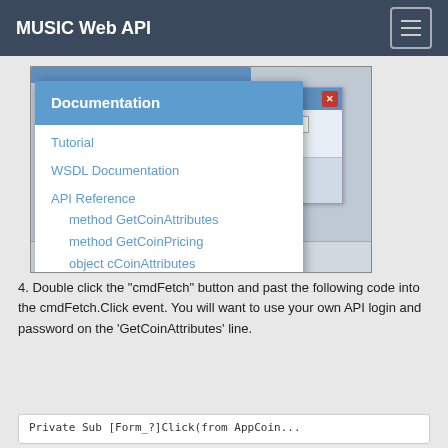MUSIC Web API
[Figure (screenshot): Screenshot of a web application with a dropdown navigation menu showing Documentation header with links: Tutorial, WSDL Documentation, API Reference, method GetCoinAttributes, method GetCoinPricing, object cCoinAttributes. Behind the dropdown is a dialog window with a close button and an input field labeled 'fo'.]
4. Double click the "cmdFetch" button and past the following code into the cmdFetch.Click event. You will want to use your own API login and password on the 'GetCoinAttributes' line.
Private Sub [Form_?]Click(from AppCoin...